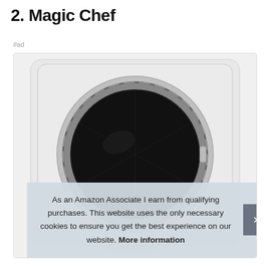2. Magic Chef
#ad
[Figure (photo): Product photo of a Magic Chef compact dryer/washing machine with a circular dark drum door, white casing with rounded square form factor, viewed from front-center angle showing the porthole window prominently.]
As an Amazon Associate I earn from qualifying purchases. This website uses the only necessary cookies to ensure you get the best experience on our website. More information